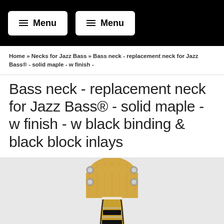Menu  Menu
Home » Necks for Jazz Bass » Bass neck - replacement neck for Jazz Bass® - solid maple - w finish -
Bass neck - replacement neck for Jazz Bass® - solid maple - w finish - w black binding & black block inlays
[Figure (photo): Photo of a maple bass guitar neck (replacement neck for Jazz Bass) showing the headstock with tuning pegs and fretboard with black block inlays, viewed from the front against a light grey background.]